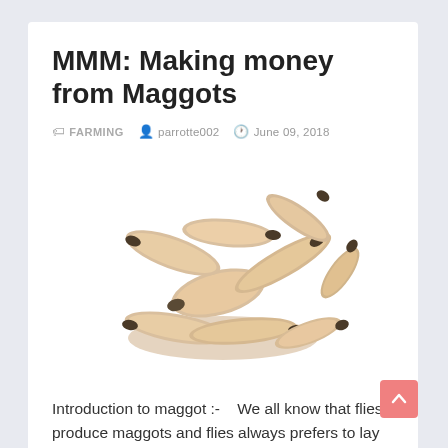MMM: Making money from Maggots
FARMING   parrotte002   June 09, 2018
[Figure (photo): A pile of maggots (fly larvae) on a white background, cream/tan colored with dark tips]
Introduction to maggot :-    We all know that flies produce maggots and flies always prefers to lay their eggs on things that...